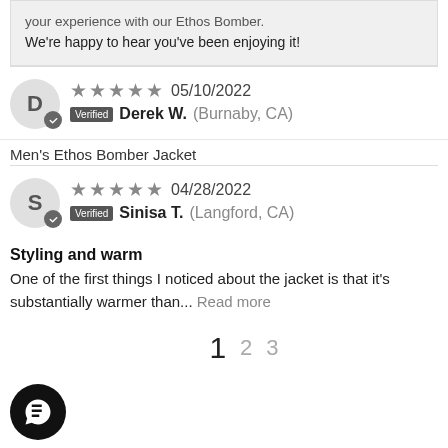your experience with our Ethos Bomber. We're happy to hear you've been enjoying it!
D — Derek W. (Burnaby, CA) — 05/10/2022 — Verified — Men's Ethos Bomber Jacket
Men's Ethos Bomber Jacket
S — Sinisa T. (Langford, CA) — 04/28/2022 — Verified — Styling and warm — One of the first things I noticed about the jacket is that it's substantially warmer than... Read more
Styling and warm
One of the first things I noticed about the jacket is that it's substantially warmer than... Read more
1  2  3